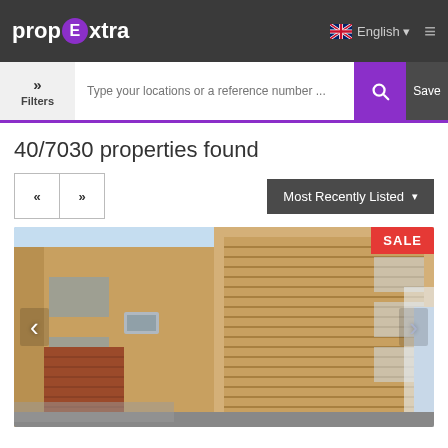prop Extra — English
Type your locations or a reference number ...
40/7030 properties found
Most Recently Listed
[Figure (photo): Exterior view of a multi-storey apartment building with sandy/orange walls, brick accents, window air conditioning units, and blue sky background. A red SALE badge is shown in the top right corner. Left and right navigation arrows are visible on the photo.]